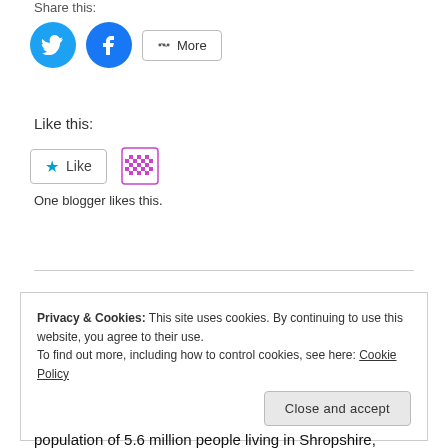Share this:
[Figure (other): Social share buttons: Twitter (blue circle), Facebook (blue circle), and a More button with share icon]
Like this:
[Figure (other): Like button with star icon and a WordPress blogger avatar icon. Text below: One blogger likes this.]
One blogger likes this.
Privacy & Cookies: This site uses cookies. By continuing to use this website, you agree to their use.
To find out more, including how to control cookies, see here: Cookie Policy
Close and accept
population of 5.6 million people living in Shropshire,